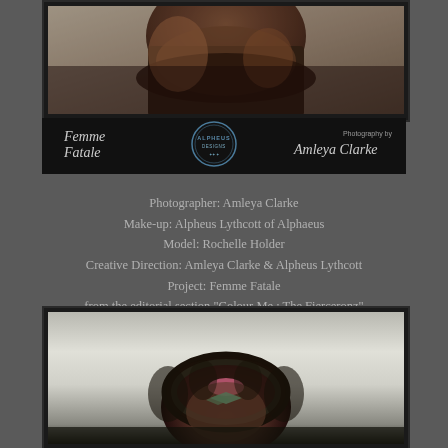[Figure (photo): Close-up photo of a model wearing black clothing, showing neck and shoulder area, dark skin tone]
[Figure (logo): Logo bar with Femme Fatale script logo on left, Alpheus Designs circular logo in center, Photography by Amleya Clarke script on right]
Photographer: Amleya Clarke
Make-up: Alpheus Lythcott of Alphaeus
Model: Rochelle Holder
Creative Direction: Amleya Clarke & Alpheus Lythcott
Project: Femme Fatale
from the editorial section "Colour Me : The Fierceronz"
[Figure (photo): Portrait photo of model with braided hair styled around face, colorful makeup accents including pink and teal geometric shapes on forehead/brow area, neutral grey studio background]